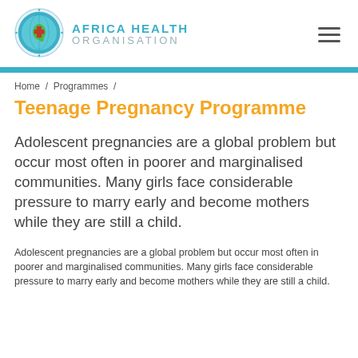[Figure (logo): Africa Health Organisation logo: globe with Africa highlighted, medical cross symbol, decorative circular border, teal and green tones]
Africa Health Organisation
Home / Programmes /
Teenage Pregnancy Programme
Adolescent pregnancies are a global problem but occur most often in poorer and marginalised communities. Many girls face considerable pressure to marry early and become mothers while they are still a child.
Adolescent pregnancies are a global problem but occur most often in poorer and marginalised communities. Many girls face considerable pressure to marry early and become mothers while they are still a child.